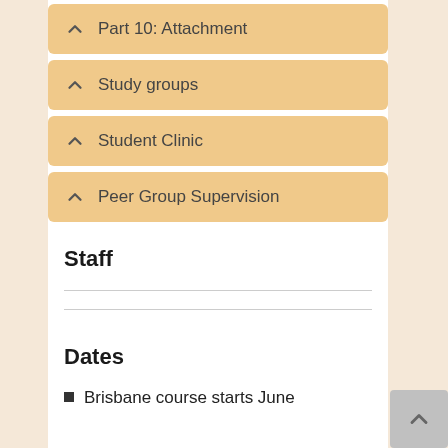Part 10: Attachment
Study groups
Student Clinic
Peer Group Supervision
Staff
Dates
Brisbane course starts June